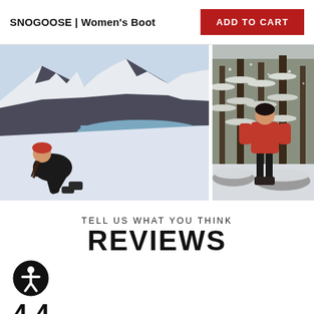SNOGOOSE | Women's Boot
ADD TO CART
[Figure (photo): Woman in red hat sitting in snow with snowy mountains and blue water in background, wearing black boots]
[Figure (photo): Person in red jacket standing on snowy rocks in a forested winter landscape]
TELL US WHAT YOU THINK
REVIEWS
[Figure (other): Accessibility icon - person in circle symbol]
4.4